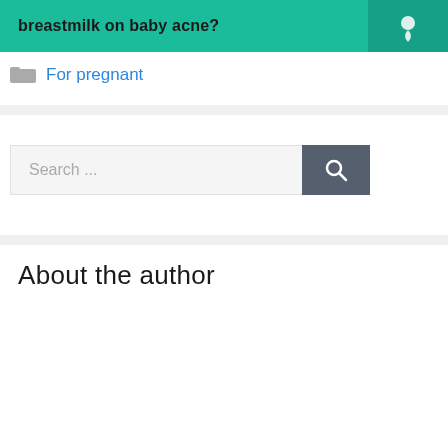[Figure (illustration): Green banner with bold text 'breastmilk on baby acne?' and a teal icon section on the right]
For pregnant
[Figure (screenshot): Search bar with placeholder text 'Search ...' and a dark grey search button with magnifying glass icon]
About the author